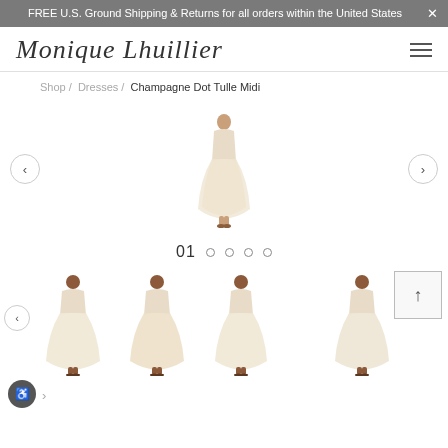FREE U.S. Ground Shipping & Returns for all orders within the United States
Monique Lhuillier
Shop / Dresses / Champagne Dot Tulle Midi
[Figure (photo): Main product image of a champagne dot tulle midi dress on a model, shown full length, strapless style with tulle skirt]
01 ○ ○ ○ ○
[Figure (photo): Thumbnail gallery of four views of the champagne dot tulle midi dress on a model]